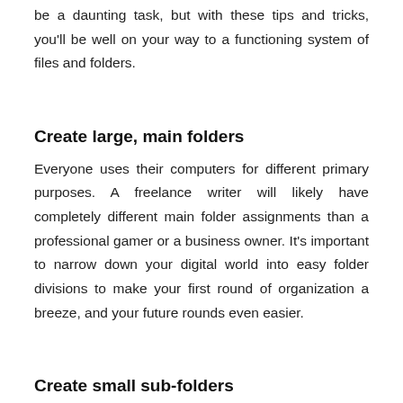be a daunting task, but with these tips and tricks, you'll be well on your way to a functioning system of files and folders.
Create large, main folders
Everyone uses their computers for different primary purposes. A freelance writer will likely have completely different main folder assignments than a professional gamer or a business owner. It's important to narrow down your digital world into easy folder divisions to make your first round of organization a breeze, and your future rounds even easier.
Create small sub-folders